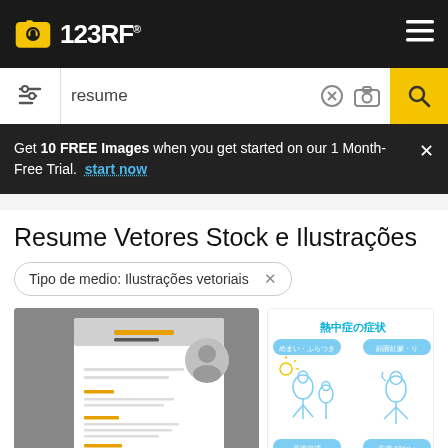[Figure (screenshot): 123RF logo with camera icon in yellow/gold and white text on dark background, with hamburger menu icon on right]
[Figure (screenshot): Search bar with filter icon, text input showing 'resume', clear and camera icons, and yellow search button]
Get 10 FREE Images when you get started on our 1 Month-Free Trial. start now
Resume Vetores Stock e Ilustrações
Tipo de medio: Ilustrações vetoriais ×
[Figure (screenshot): Stock illustration thumbnail showing a resume/CV template with placeholder profile photo on gray background]
[Figure (screenshot): Stock illustration thumbnail showing Japanese heat stroke symptoms infographic with cartoon figures and Japanese text 熱中症の症状]